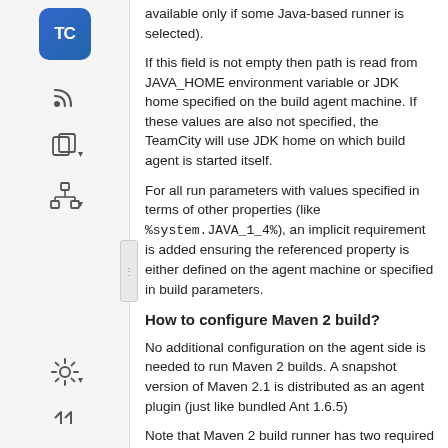available only if some Java-based runner is selected).
If this field is not empty then path is read from JAVA_HOME environment variable or JDK home specified on the build agent machine. If these values are also not specified, the TeamCity will use JDK home on which build agent is started itself.
For all run parameters with values specified in terms of other properties (like %system.JAVA_1_4%), an implicit requirement is added ensuring the referenced property is either defined on the agent machine or specified in build parameters.
How to configure Maven 2 build?
No additional configuration on the agent side is needed to run Maven 2 builds. A snapshot version of Maven 2.1 is distributed as an agent plugin (just like bundled Ant 1.6.5)
Note that Maven 2 build runner has two required parameters:
goals - a set of maven goals to be executed